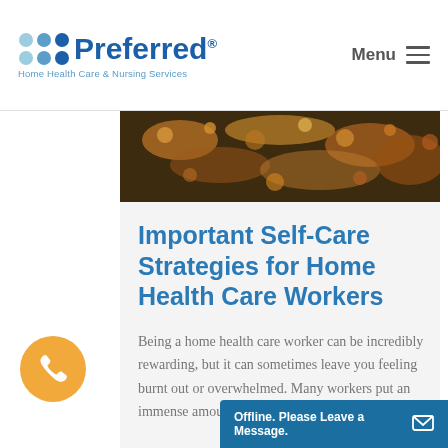[Figure (logo): Preferred Home Health Care & Nursing Services logo with colorful dots]
Menu
[Figure (photo): Autumn leaves on dark ground, warm orange and brown tones]
Important Self-Care Strategies for Home Health Care Workers
Being a home health care worker can be incredibly rewarding, but it can sometimes leave you feeling burnt out or overwhelmed. Many workers put an immense amount of time and thought into t
[Figure (other): Orange phone call button (circular)]
[Figure (other): Blue chat widget: Offline. Please Leave a Message.]